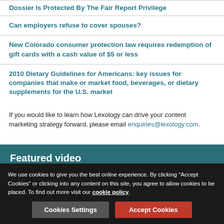Dossier Is Protected By The Fair Report Privilege
Can employers refuse to cover spouses?
New Colorado consumer protection law requires redemption of gift cards with a cash value of $5 or less
2010 Dietary Guidelines for Americans: key issues for companies that make or market food, beverages, or dietary supplements for the U.S. market
If you would like to learn how Lexology can drive your content marketing strategy forward, please email enquiries@lexology.com.
Featured video
We use cookies to give you the best online experience. By clicking "Accept Cookies" or clicking into any content on this site, you agree to allow cookies to be placed. To find out more visit our cookie policy.